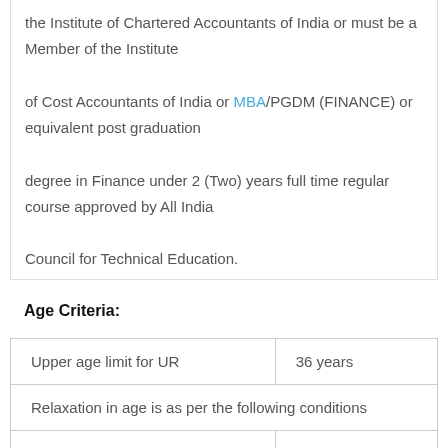the Institute of Chartered Accountants of India or must be a Member of the Institute of Cost Accountants of India or MBA/PGDM (FINANCE) or equivalent post graduation degree in Finance under 2 (Two) years full time regular course approved by All India Council for Technical Education.
Age Criteria:
| Upper age limit for UR | 36 years |
| Relaxation in age is as per the following conditions |  |
| SC and ST | 5 years |